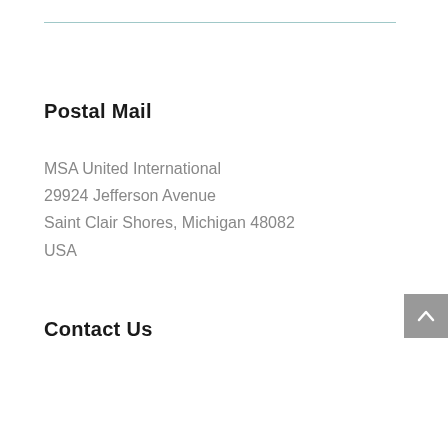Postal Mail
MSA United International
29924 Jefferson Avenue
Saint Clair Shores, Michigan 48082
USA
Contact Us
info@msaunited.org